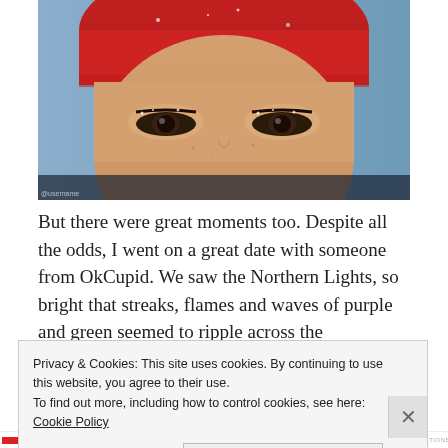[Figure (photo): Close-up photo of a person's eyes and forehead wearing a red knit winter hat/beanie, taken outdoors with blue sky in the background. The person's eyelashes appear to have frost on them.]
But there were great moments too. Despite all the odds, I went on a great date with someone from OkCupid. We saw the Northern Lights, so bright that streaks, flames and waves of purple and green seemed to ripple across the
Privacy & Cookies: This site uses cookies. By continuing to use this website, you agree to their use.
To find out more, including how to control cookies, see here: Cookie Policy
Close and accept